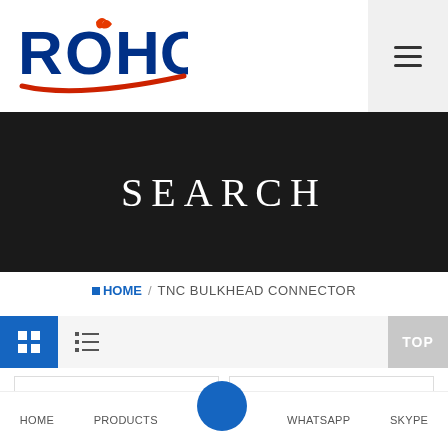[Figure (logo): ROHO company logo with blue bold text and red swoosh underline]
SEARCH
HOME / TNC BULKHEAD CONNECTOR
[Figure (other): Grid and list view toggle buttons bar with blue grid button active and a TOP button on right]
TNC Female Straight Connector Bulkhead Mount
TNC Female Straight Connector Bulkhead Mount
HOME   PRODUCTS   WHATSAPP   SKYPE